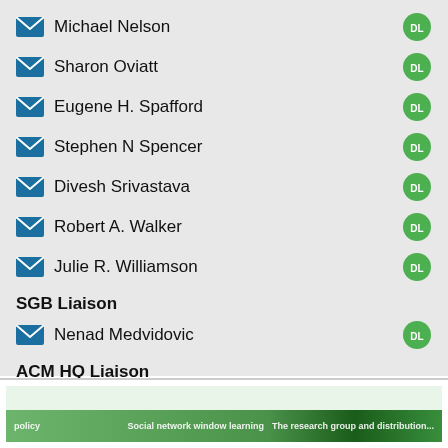Michael Nelson
Sharon Oviatt
Eugene H. Spafford
Stephen N Spencer
Divesh Srivastava
Robert A. Walker
Julie R. Williamson
SGB Liaison
Nenad Medvidovic
ACM HQ Liaison
Scott Delman
[Figure (photo): Green banner image at bottom with social network-related content]